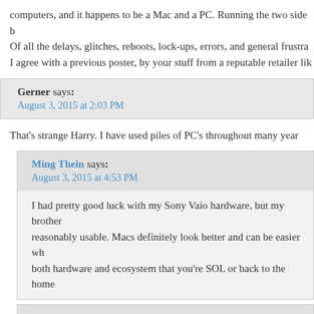computers, and it happens to be a Mac and a PC. Running the two side b Of all the delays, glitches, reboots, lock-ups, errors, and general frustra I agree with a previous poster, by your stuff from a reputable retailer lik
Gerner says: August 3, 2015 at 2:03 PM
That's strange Harry. I have used piles of PC's throughout many year
Ming Thein says: August 3, 2015 at 4:53 PM
I had pretty good luck with my Sony Vaio hardware, but my brother reasonably usable. Macs definitely look better and can be easier wh both hardware and ecosystem that you're SOL or back to the home
Ming Thein says: August 3, 2015 at 4:46 PM